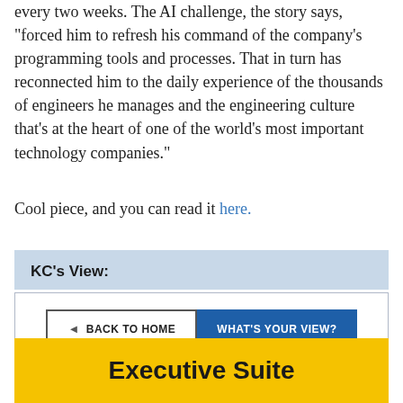every two weeks. The AI challenge, the story says, "forced him to refresh his command of the company's programming tools and processes. That in turn has reconnected him to the daily experience of the thousands of engineers he manages and the engineering culture that's at the heart of one of the world's most important technology companies."
Cool piece, and you can read it here.
KC's View:
[Figure (other): Two buttons: BACK TO HOME and WHAT'S YOUR VIEW?, with social sharing icons for email, Twitter, LinkedIn, and Facebook below]
Executive Suite